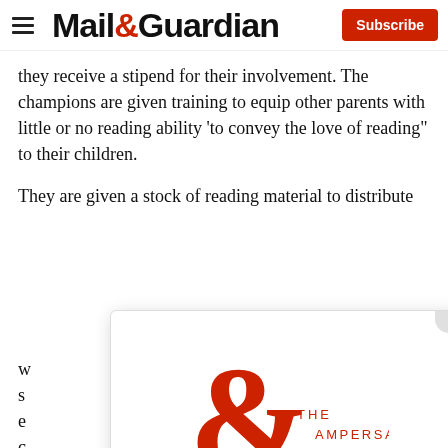Mail&Guardian — Subscribe
they receive a stipend for their involvement. The champions are given training to equip other parents with little or no reading ability ‘to convey the love of reading” to their children.
They are given a stock of reading material to distribute w...
[Figure (logo): The Ampersand logo: large red ampersand symbol with 'THE AMPERSAND' text in red beside it, on a white popup overlay card with 'Stay informed. Every weekday.' tagline and an E-mail Address input field.]